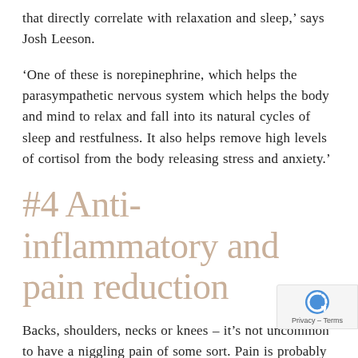that directly correlate with relaxation and sleep,’ says Josh Leeson.
‘One of these is norepinephrine, which helps the parasympathetic nervous system which helps the body and mind to relax and fall into its natural cycles of sleep and restfulness. It also helps remove high levels of cortisol from the body releasing stress and anxiety.’
#4 Anti-inflammatory and pain reduction
Backs, shoulders, necks or knees – it’s not uncommon to have a niggling pain of some sort. Pain is probably your body’s most effective way of letting you know something is out of balance and needs your attention. So, can cryotherapy he…
‘Cryotherapy stimulates an influx of the anti-inflammatory neurotransmitter and hormone…